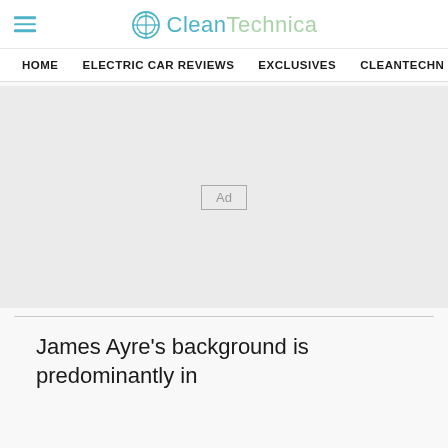CleanTechnica — HOME | ELECTRIC CAR REVIEWS | EXCLUSIVES | CLEANTECHN
[Figure (other): Advertisement placeholder box with 'Ad' label in center on light gray background]
James Ayre's background is predominantly in